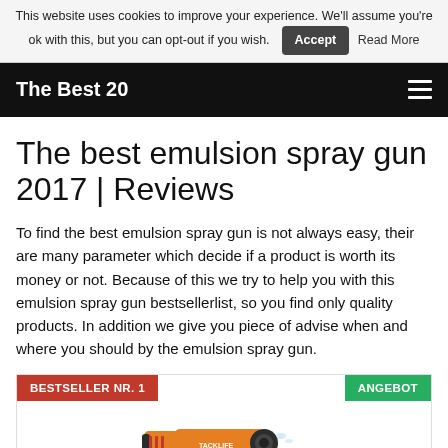This website uses cookies to improve your experience. We'll assume you're ok with this, but you can opt-out if you wish. Accept Read More
The Best 20
The best emulsion spray gun 2017 | Reviews
To find the best emulsion spray gun is not always easy, their are many parameter which decide if a product is worth its money or not. Because of this we try to help you with this emulsion spray gun bestsellerlist, so you find only quality products. In addition we give you piece of advise when and where you should by the emulsion spray gun.
[Figure (photo): Product image of an orange and black emulsion spray gun (TACKLIFE brand) with BESTSELLER NR. 1 badge in red and ANGEBOT badge in green]